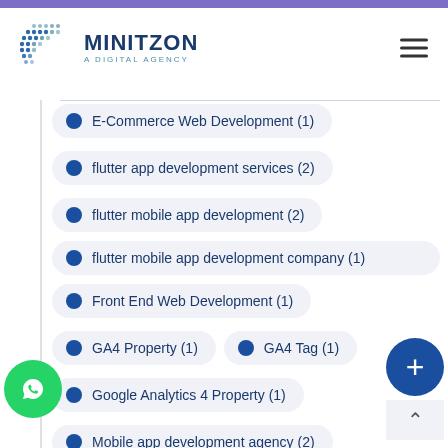[Figure (logo): Minitzon A Digital Agency logo with blue dot-grid icon and navy text]
E-Commerce Web Development (1)
flutter app development services (2)
flutter mobile app development (2)
flutter mobile app development company (1)
Front End Web Development (1)
GA4 Property (1)
GA4 Tag (1)
Google Analytics 4 Property (1)
Mobile app development agency (2)
mobile app development company (1)
mobile app development company india (truncated)